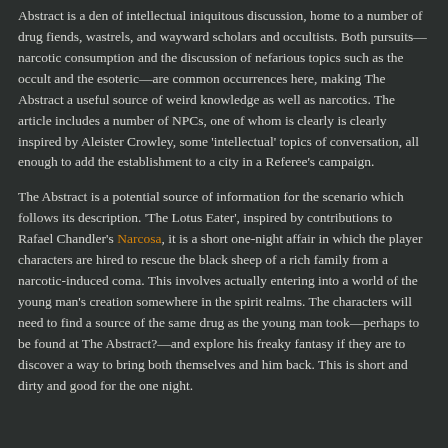Abstract is a den of intellectual iniquitous discussion, home to a number of drug fiends, wastrels, and wayward scholars and occultists. Both pursuits—narcotic consumption and the discussion of nefarious topics such as the occult and the esoteric—are common occurrences here, making The Abstract a useful source of weird knowledge as well as narcotics. The article includes a number of NPCs, one of whom is clearly is clearly inspired by Aleister Crowley, some 'intellectual' topics of conversation, all enough to add the establishment to a city in a Referee's campaign.
The Abstract is a potential source of information for the scenario which follows its description. 'The Lotus Eater', inspired by contributions to Rafael Chandler's Narcosa, it is a short one-night affair in which the player characters are hired to rescue the black sheep of a rich family from a narcotic-induced coma. This involves actually entering into a world of the young man's creation somewhere in the spirit realms. The characters will need to find a source of the same drug as the young man took—perhaps to be found at The Abstract?—and explore his freaky fantasy if they are to discover a way to bring both themselves and him back. This is short and dirty and good for the one night.